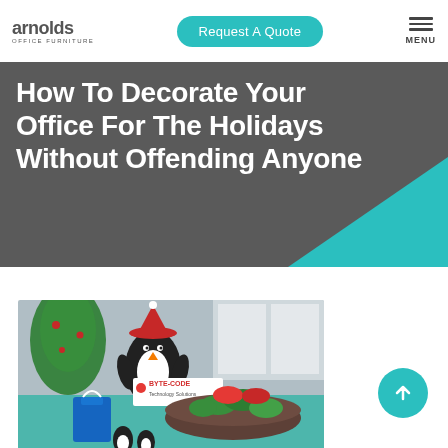arnolds OFFICE FURNITURE | Request A Quote | MENU
How To Decorate Your Office For The Holidays Without Offending Anyone
[Figure (photo): Office holiday decoration photo: a penguin plush in a Santa hat, a Byte-Code Technology Solutions sign, a bowl of wrapped green and red candies, a blue gift bag, and small penguin figurines on a blue table. A Christmas tree is visible in the background.]